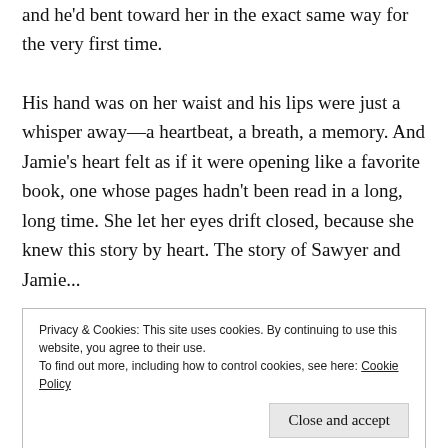and he'd bent toward her in the exact same way for the very first time.
His hand was on her waist and his lips were just a whisper away—a heartbeat, a breath, a memory. And Jamie's heart felt as if it were opening like a favorite book, one whose pages hadn't been read in a long, long time. She let her eyes drift closed, because she knew this story by heart. The story of Sawyer and Jamie...
Privacy & Cookies: This site uses cookies. By continuing to use this website, you agree to their use.
To find out more, including how to control cookies, see here: Cookie Policy
Close and accept